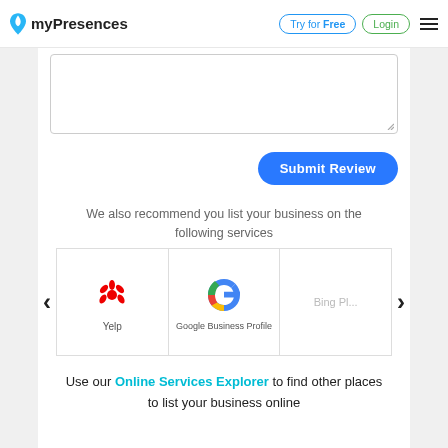myPresences | Try for Free | Login
[Figure (screenshot): Text area input box for review submission]
Submit Review
We also recommend you list your business on the following services
[Figure (illustration): Service logos carousel showing Yelp, Google Business Profile, and Bing Places with left/right navigation arrows]
Use our Online Services Explorer to find other places to list your business online